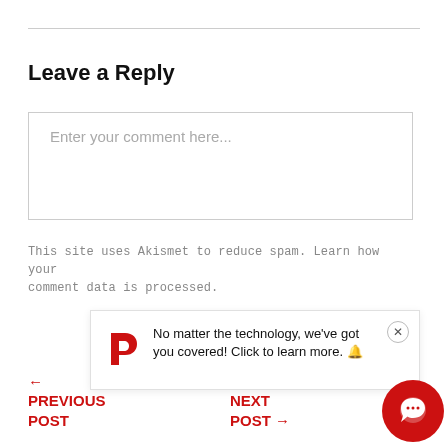Leave a Reply
Enter your comment here...
This site uses Akismet to reduce spam. Learn how your comment data is processed.
[Figure (screenshot): Notification popup with a red P logo and text: No matter the technology, we've got you covered! Click to learn more.]
← PREVIOUS POST | NEXT POST →